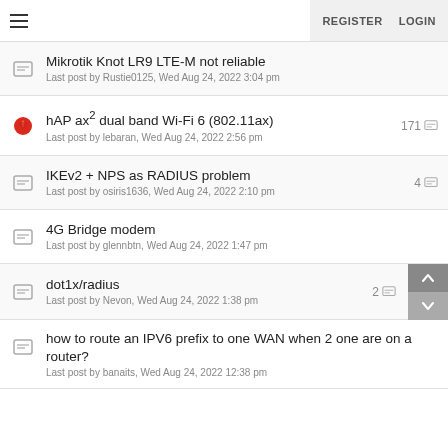REGISTER  LOGIN
Mikrotik Knot LR9 LTE-M not reliable
Last post by Rustie0125, Wed Aug 24, 2022 3:04 pm
hAP ax² dual band Wi-Fi 6 (802.11ax)
Last post by lebaran, Wed Aug 24, 2022 2:56 pm
171
IKEv2 + NPS as RADIUS problem
Last post by osiris1636, Wed Aug 24, 2022 2:10 pm
4
4G Bridge modem
Last post by glennbtn, Wed Aug 24, 2022 1:47 pm
dot1x/radius
Last post by Nevon, Wed Aug 24, 2022 1:38 pm
2
how to route an IPV6 prefix to one WAN when 2 one are on a router?
Last post by banaits, Wed Aug 24, 2022 12:38 pm